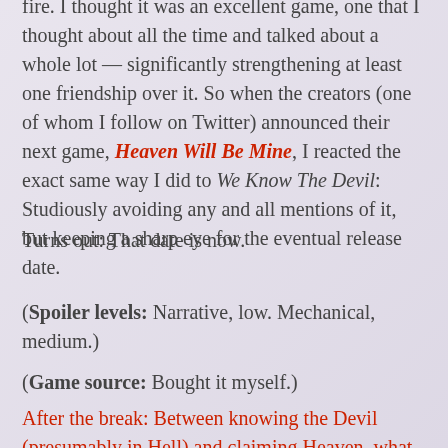fire. I thought it was an excellent game, one that I thought about all the time and talked about a whole lot — significantly strengthening at least one friendship over it. So when the creators (one of whom I follow on Twitter) announced their next game, Heaven Will Be Mine, I reacted the exact same way I did to We Know The Devil: Studiously avoiding any and all mentions of it, but keeping a sharp eye for the eventual release date.
Turns out: That date is now.
(Spoiler levels: Narrative, low. Mechanical, medium.)
(Game source: Bought it myself.)
After the break: Between knowing the Devil (presumably in Hell) and claiming Heaven, what more is there for these developers to claim? I figure